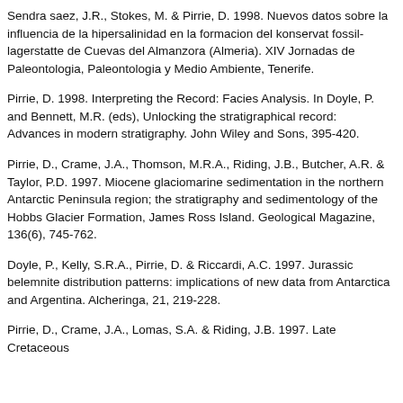Sendra saez, J.R., Stokes, M. & Pirrie, D. 1998. Nuevos datos sobre la influencia de la hipersalinidad en la formacion del konservat fossil-lagerstatte de Cuevas del Almanzora (Almeria). XIV Jornadas de Paleontologia, Paleontologia y Medio Ambiente, Tenerife.
Pirrie, D. 1998. Interpreting the Record: Facies Analysis. In Doyle, P. and Bennett, M.R. (eds), Unlocking the stratigraphical record: Advances in modern stratigraphy. John Wiley and Sons, 395-420.
Pirrie, D., Crame, J.A., Thomson, M.R.A., Riding, J.B., Butcher, A.R. & Taylor, P.D. 1997. Miocene glaciomarine sedimentation in the northern Antarctic Peninsula region; the stratigraphy and sedimentology of the Hobbs Glacier Formation, James Ross Island. Geological Magazine, 136(6), 745-762.
Doyle, P., Kelly, S.R.A., Pirrie, D. & Riccardi, A.C. 1997. Jurassic belemnite distribution patterns: implications of new data from Antarctica and Argentina. Alcheringa, 21, 219-228.
Pirrie, D., Crame, J.A., Lomas, S.A. & Riding, J.B. 1997. Late Cretaceous...